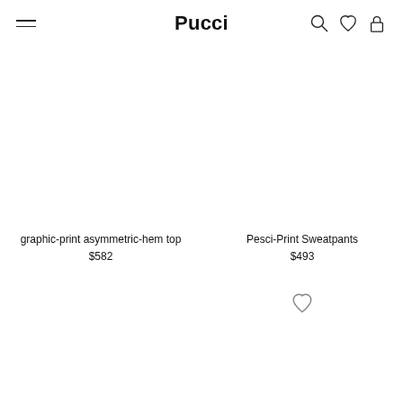Pucci
graphic-print asymmetric-hem top
$582
Pesci-Print Sweatpants
$493